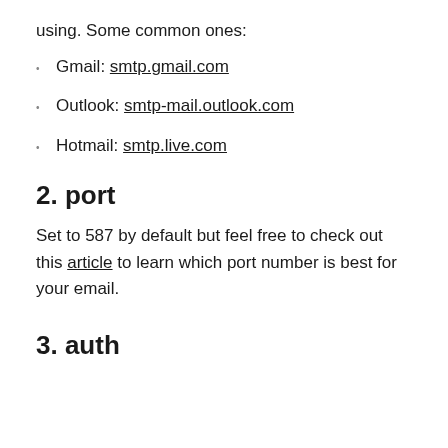using. Some common ones:
Gmail: smtp.gmail.com
Outlook: smtp-mail.outlook.com
Hotmail: smtp.live.com
2. port
Set to 587 by default but feel free to check out this article to learn which port number is best for your email.
3. auth